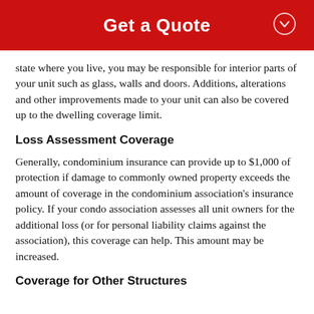Get a Quote
state where you live, you may be responsible for interior parts of your unit such as glass, walls and doors. Additions, alterations and other improvements made to your unit can also be covered up to the dwelling coverage limit.
Loss Assessment Coverage
Generally, condominium insurance can provide up to $1,000 of protection if damage to commonly owned property exceeds the amount of coverage in the condominium association's insurance policy. If your condo association assesses all unit owners for the additional loss (or for personal liability claims against the association), this coverage can help. This amount may be increased.
Coverage for Other Structures